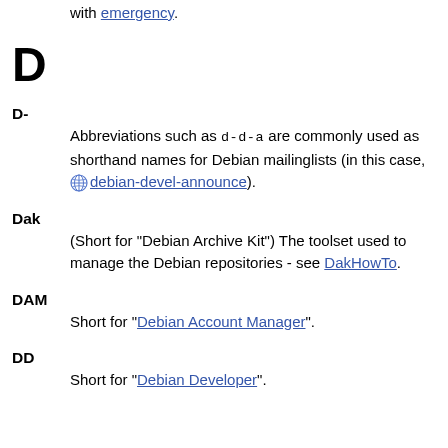with emergency.
D
D-
Abbreviations such as d-d-a are commonly used as shorthand names for Debian mailinglists (in this case, debian-devel-announce).
Dak
(Short for "Debian Archive Kit") The toolset used to manage the Debian repositories - see DakHowTo.
DAM
Short for "Debian Account Manager".
DD
Short for "Debian Developer".